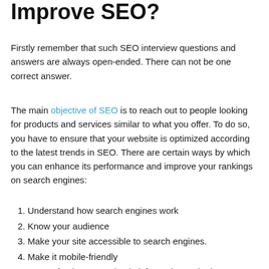Improve SEO?
Firstly remember that such SEO interview questions and answers are always open-ended. There can not be one correct answer.
The main objective of SEO is to reach out to people looking for products and services similar to what you offer. To do so, you have to ensure that your website is optimized according to the latest trends in SEO. There are certain ways by which you can enhance its performance and improve your rankings on search engines:
Understand how search engines work
Know your audience
Make your site accessible to search engines.
Make it mobile-friendly
Create fresh content that is informative and relevant